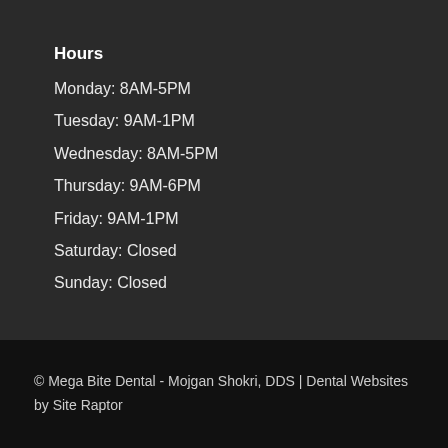Hours
Monday: 8AM-5PM
Tuesday: 9AM-1PM
Wednesday: 8AM-5PM
Thursday: 9AM-6PM
Friday: 9AM-1PM
Saturday: Closed
Sunday: Closed
© Mega Bite Dental - Mojgan Shokri, DDS | Dental Websites by Site Raptor